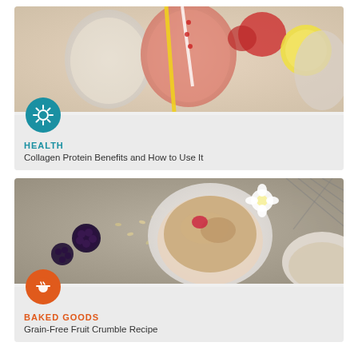[Figure (photo): Photo of smoothie drinks in mason jars with strawberries, banana slice, and striped straws on a light background]
HEALTH
Collagen Protein Benefits and How to Use It
[Figure (photo): Overhead photo of grain-free fruit crumble in white bowls with oats, blackberries, and white flowers on a grey surface]
BAKED GOODS
Grain-Free Fruit Crumble Recipe